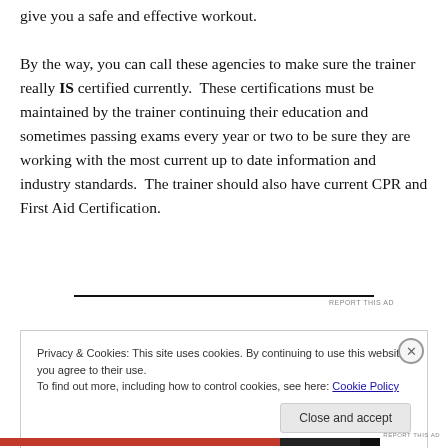give you a safe and effective workout.

By the way, you can call these agencies to make sure the trainer really IS certified currently. These certifications must be maintained by the trainer continuing their education and sometimes passing exams every year or two to be sure they are working with the most current up to date information and industry standards. The trainer should also have current CPR and First Aid Certification.
Privacy & Cookies: This site uses cookies. By continuing to use this website, you agree to their use.
To find out more, including how to control cookies, see here: Cookie Policy